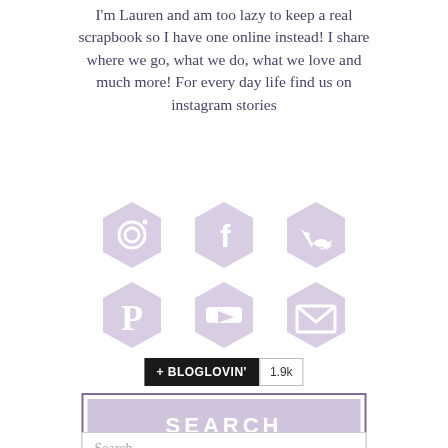I'm Lauren and am too lazy to keep a real scrapbook so I have one online instead! I share where we go, what we do, what we love and much more! For every day life find us on instagram stories
[Figure (infographic): Six social media icons in hexagonal shapes arranged in a 3x2 grid: Instagram, Facebook, Twitter (top row), Pinterest, YouTube, Email (bottom row). Icons are light purple/lavender color.]
[Figure (infographic): Bloglovin follow button with black background showing '+ BLOGLOVIN'' text in white, followed by a count badge showing '1.9k']
[Figure (infographic): A search banner with purple border and lavender background displaying 'SEARCH' in white bold uppercase letters]
Search ...